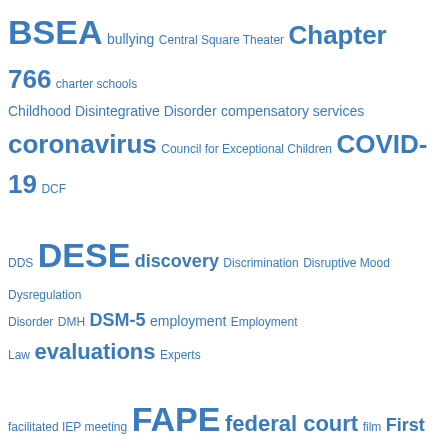[Figure (other): Tag cloud of education law and special education related terms in various font sizes, all in blue color. Terms include BSEA, bullying, Central Square Theater, Chapter 766, charter schools, Childhood Disintegrative Disorder, compensatory services, coronavirus, Council for Exceptional Children, COVID-19, DCF, DDS, DESE, discovery, Discrimination, Disruptive Mood Dysregulation Disorder, DMH, DSM-5, employment, Employment Law, evaluations, Experts, facilitated IEP meeting, FAPE, federal court, film, First Circuit, Flagg v. AliMed, health insurance, hearings, ICE, IDEA, IEP, Inc., joinder, legal developments, Legislation, lunch, Massachusetts Supreme Judicial Court, meals, mediation, Mental health, observations, OSEP, OSERS, parents, Pervasive Developmental Disorder, private schools, Recovery High School, regulations, Restraint, reviews, School violence, Section 504, Social Communication Disorder, Substance Abuse, task force, team meeting, Theater, transition]